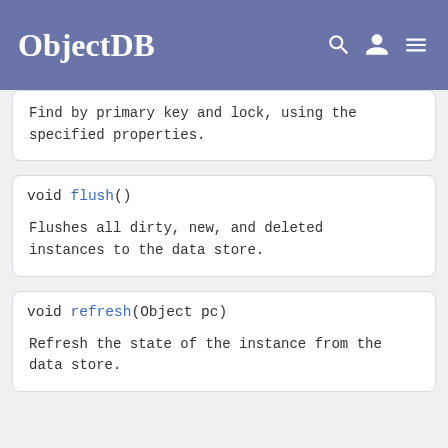ObjectDB
Find by primary key and lock, using the specified properties.
void flush()

Flushes all dirty, new, and deleted instances to the data store.
void refresh(Object pc)

Refresh the state of the instance from the data store.